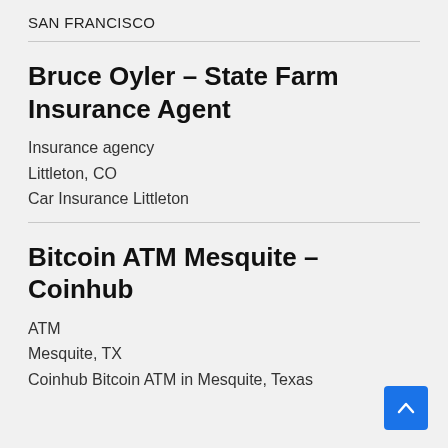SAN FRANCISCO
Bruce Oyler – State Farm Insurance Agent
Insurance agency
Littleton, CO
Car Insurance Littleton
Bitcoin ATM Mesquite – Coinhub
ATM
Mesquite, TX
Coinhub Bitcoin ATM in Mesquite, Texas